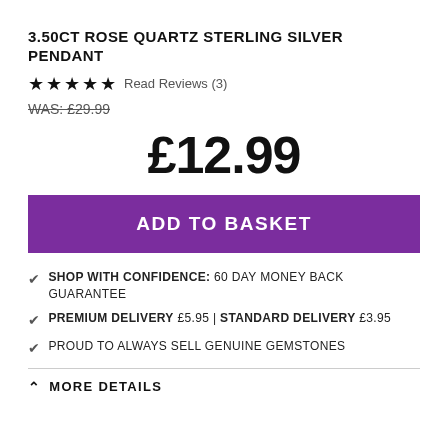3.50CT ROSE QUARTZ STERLING SILVER PENDANT
★★★★★ Read Reviews (3)
WAS: £29.99
£12.99
ADD TO BASKET
SHOP WITH CONFIDENCE: 60 DAY MONEY BACK GUARANTEE
PREMIUM DELIVERY £5.95 | STANDARD DELIVERY £3.95
PROUD TO ALWAYS SELL GENUINE GEMSTONES
MORE DETAILS